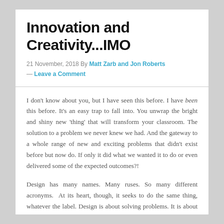Innovation and Creativity...IMO
21 November, 2018 By Matt Zarb and Jon Roberts — Leave a Comment
I don't know about you, but I have seen this before. I have been this before. It's an easy trap to fall into. You unwrap the bright and shiny new 'thing' that will transform your classroom. The solution to a problem we never knew we had. And the gateway to a whole range of new and exciting problems that didn't exist before but now do. If only it did what we wanted it to do or even delivered some of the expected outcomes?!
Design has many names. Many ruses. So many different acronyms. At its heart, though, it seeks to do the same thing, whatever the label. Design is about solving problems. It is about solutions. Testing solutions. Improving solutions. "Design is the link between innovation and creativity, taking thoughts and